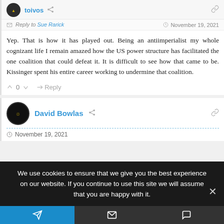Reply to Sue Rarick — November 19, 2021
Yep. That is how it has played out. Being an antiimperialist my whole cognizant life I remain amazed how the US power structure has facilitated the one coalition that could defeat it. It is difficult to see how that came to be. Kissinger spent his entire career working to undermine that coalition.
^ 0 v  Reply
David Bowlas — November 19, 2021
We use cookies to ensure that we give you the best experience on our website. If you continue to use this site we will assume that you are happy with it.